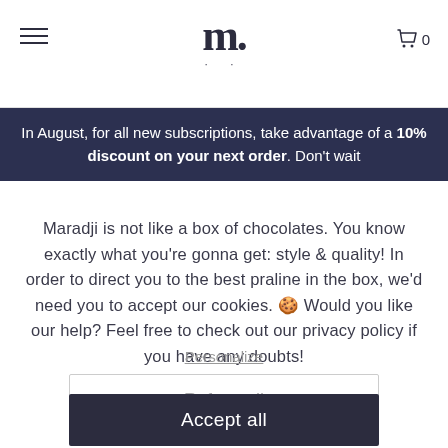m. [logo] | menu icon | cart icon 0
In August, for all new subscriptions, take advantage of a 10% discount on your next order. Don't wait
Maradji is not like a box of chocolates. You know exactly what you're gonna get: style & quality! In order to direct you to the best praline in the box, we'd need you to accept our cookies. 🍪 Would you like our help? Feel free to check out our privacy policy if you have any doubts!
Personalize
Refuse all
Accept all